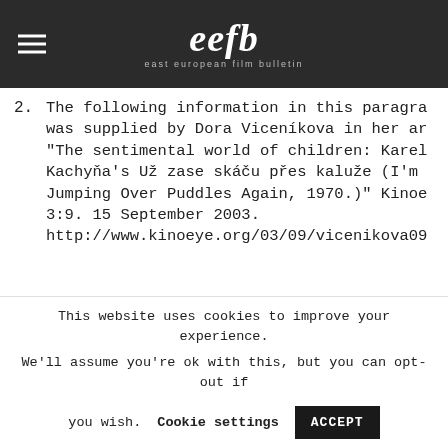eefb — east european film bulletin
2. The following information in this paragraph was supplied by Dora Viceníkova in her article "The sentimental world of children: Karel Kachyňa's Už zase skáču přes kaluže (I'm Jumping Over Puddles Again, 1970.)" Kinoeye 3:9. 15 September 2003. http://www.kinoeye.org/03/09/vicenikova09
3. Private conversation, Prague, April 24, 2012.
This website uses cookies to improve your experience. We'll assume you're ok with this, but you can opt-out if you wish.
Cookie settings   ACCEPT